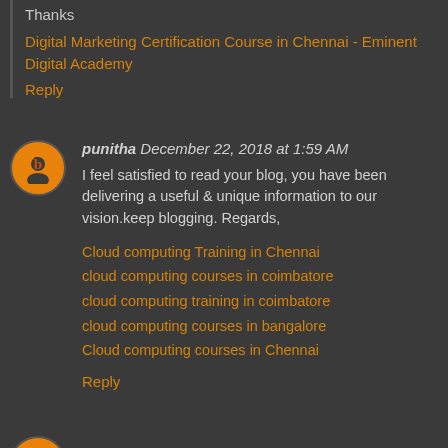Thanks
Digital Marketing Certification Course in Chennai - Eminent Digital Academy
Reply
punitha  December 22, 2018 at 1:59 AM
I feel satisfied to read your blog, you have been delivering a useful & unique information to our vision.keep blogging. Regards,
Cloud computing Training in Chennai
cloud computing courses in coimbatore
cloud computing training in coimbatore
cloud computing courses in bangalore
Cloud computing courses in Chennai
Reply
sathyaramesh  December 24, 2018 at 12:48 AM